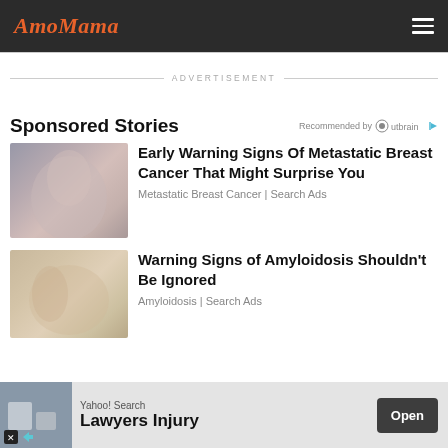AmoMama
ADVERTISEMENT
Sponsored Stories
Recommended by Outbrain
Early Warning Signs Of Metastatic Breast Cancer That Might Surprise You
Metastatic Breast Cancer | Search Ads
Warning Signs of Amyloidosis Shouldn't Be Ignored
Amyloidosis | Search Ads
Yahoo! Search
Lawyers Injury
Open